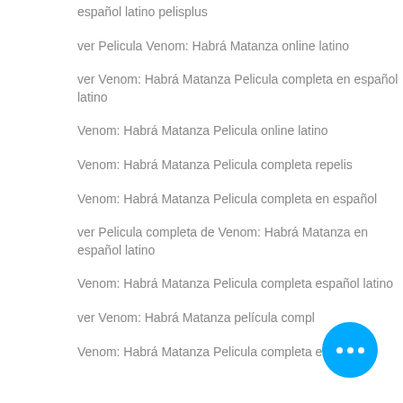español latino pelisplus
ver Pelicula Venom: Habrá Matanza online latino
ver Venom: Habrá Matanza Pelicula completa en español latino
Venom: Habrá Matanza Pelicula online latino
Venom: Habrá Matanza Pelicula completa repelis
Venom: Habrá Matanza Pelicula completa en español
ver Pelicula completa de Venom: Habrá Matanza en español latino
Venom: Habrá Matanza Pelicula completa español latino
ver Venom: Habrá Matanza película compl…
Venom: Habrá Matanza Pelicula completa en